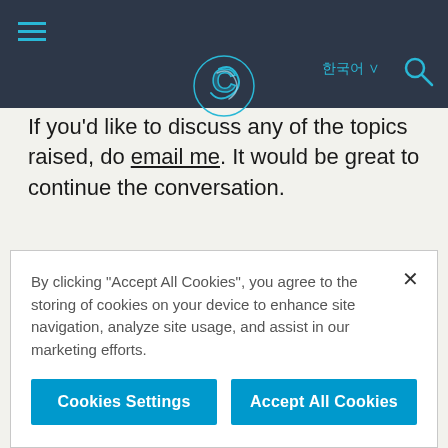Navigation bar with hamburger menu, C logo, 한국어 language selector, and search icon
which strongly recommends companies should plan and prepare for the transition now.
If you'd like to discuss any of the topics raised, do email me. It would be great to continue the conversation.
AI & ANALYTICS / CONNECTIVITY & IOT / DIGITAL SECURITY
By clicking "Accept All Cookies", you agree to the storing of cookies on your device to enhance site navigation, analyze site usage, and assist in our marketing efforts.